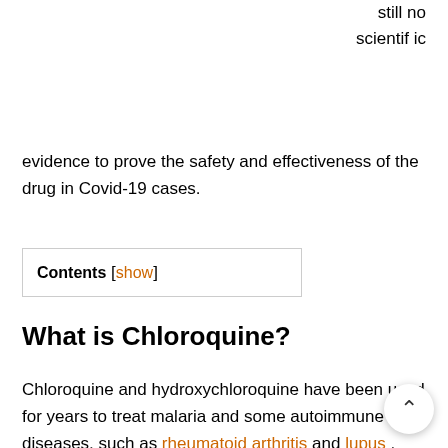still no scientific evidence to prove the safety and effectiveness of the drug in Covid-19 cases.
Contents [show]
What is Chloroquine?
Chloroquine and hydroxychloroquine have been used for years to treat malaria and some autoimmune diseases, such as rheumatoid arthritis and lupus . According to the package insert, the drug is indicated both for prophylaxis – that is, prevention through the administration of subtherapeutic doses – and for the treatment of malaria, which is a disease caused by Plasmodium vivax, P. ovale